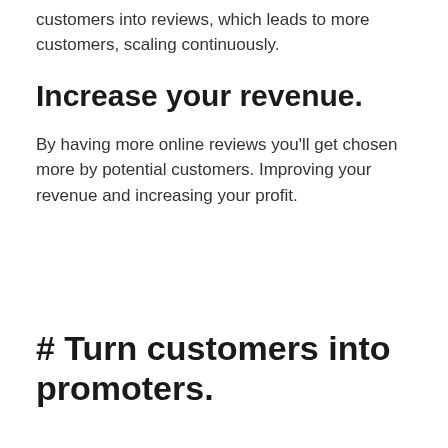customers into reviews, which leads to more customers, scaling continuously.
Increase your revenue.
By having more online reviews you'll get chosen more by potential customers. Improving your revenue and increasing your profit.
# Turn customers into promoters.